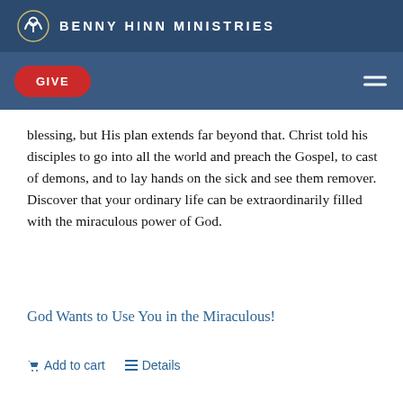BENNY HINN MINISTRIES
GIVE
blessing, but His plan extends far beyond that. Christ told his disciples to go into all the world and preach the Gospel, to cast of demons, and to lay hands on the sick and see them remover. Discover that your ordinary life can be extraordinarily filled with the miraculous power of God.
God Wants to Use You in the Miraculous!
Add to cart   Details